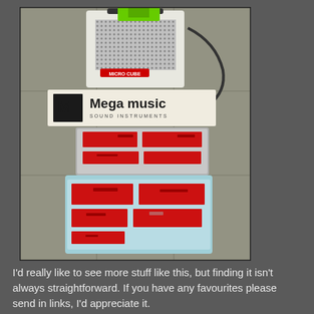[Figure (photo): A photograph showing a Roland Micro Cube guitar amplifier, a Mega Music Sound and Instruments store sign/banner, and two plastic trays (one stacked on top of the other, one open) containing red Roland-branded items/boxes, all placed on a concrete floor.]
I'd really like to see more stuff like this, but finding it isn't always straightforward. If you have any favourites please send in links, I'd appreciate it.